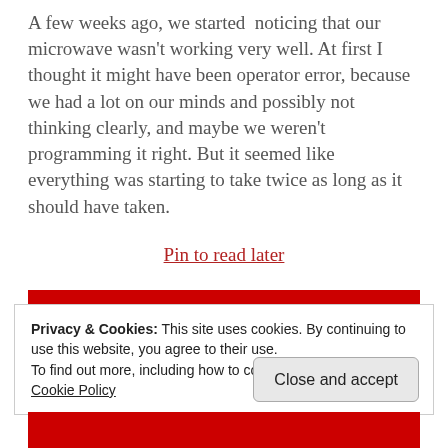A few weeks ago, we started noticing that our microwave wasn't working very well. At first I thought it might have been operator error, because we had a lot on our minds and possibly not thinking clearly, and maybe we weren't programming it right. But it seemed like everything was starting to take twice as long as it should have taken.
Pin to read later
Privacy & Cookies: This site uses cookies. By continuing to use this website, you agree to their use.
To find out more, including how to control cookies, see here:
Cookie Policy